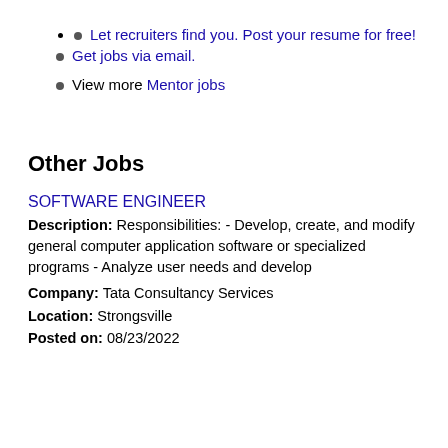Let recruiters find you. Post your resume for free!
Get jobs via email.
View more Mentor jobs
Other Jobs
SOFTWARE ENGINEER
Description: Responsibilities: - Develop, create, and modify general computer application software or specialized programs - Analyze user needs and develop
Company: Tata Consultancy Services
Location: Strongsville
Posted on: 08/23/2022